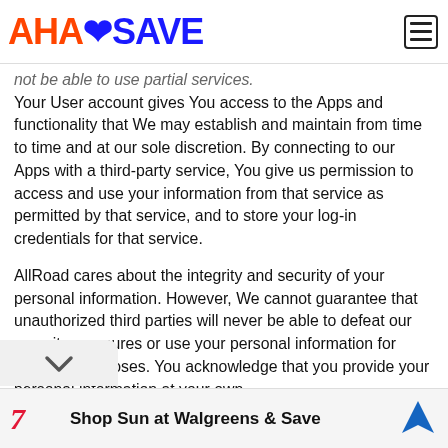AHASAVE
not be able to use partial services.
Your User account gives You access to the Apps and functionality that We may establish and maintain from time to time and at our sole discretion. By connecting to our Apps with a third-party service, You give us permission to access and use your information from that service as permitted by that service, and to store your log-in credentials for that service.
AllRoad cares about the integrity and security of your personal information. However, We cannot guarantee that unauthorized third parties will never be able to defeat our security measures or use your personal information for improper purposes. You acknowledge that you provide your personal information at your own
Shop Sun at Walgreens & Save